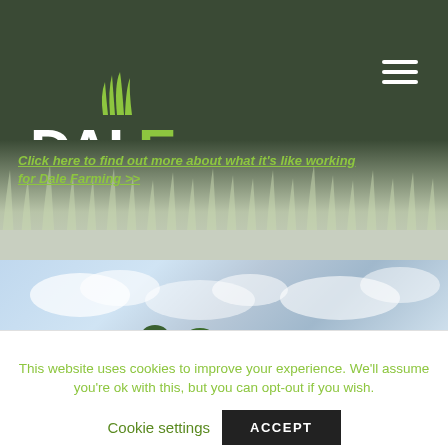[Figure (logo): Dale Farming logo with green grass blades icon, white bold DALE text and green FARMING text on dark green background with hamburger menu icon]
Click here to find out more about what it's like working for Dale Farming >>
[Figure (photo): Outdoor farm scene with a person in the foreground, green fields, trees, cloudy sky, and yellow farming equipment visible]
This website uses cookies to improve your experience. We'll assume you're ok with this, but you can opt-out if you wish.
Cookie settings
ACCEPT